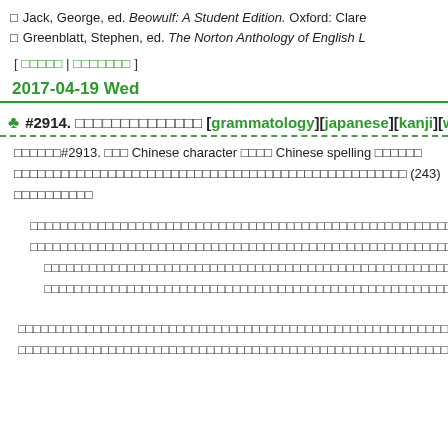□ Jack, George, ed. Beowulf: A Student Edition. Oxford: Clare...
□ Greenblatt, Stephen, ed. The Norton Anthology of English L...
[ □□□□□ | □□□□□□□ ]
2017-04-19 Wed
#2914. □□□□□□□□□□□□□□ [grammatology][japanese][kanji][writ...
□□□□□□#2913. □□□ Chinese character □□□□ Chinese spelling □□□□□□ □□□□□□□□□□□□□□□□□□□□□□□□□□□□□□□□□□□□□□□□□□□□□□□□ (243) □□□□□□□□□□□
□□□□□□□□□□□□□□□□□□□□□□□□□□□□□□□□□□□□□□□□□□□□□□□□□□□□□□□□□□□□□□□□□□□□□□□□□□□□□□□□□□□□□□□□□□□□□□□□□□□□□□□□□□□□□□□□□□□□□□□□□□□□□□□□□□□□□□□□□□□□□□□□□□□□□□□□□□□□□□□□□□□□□□□□□□□□□□□□□□□□□□□□□□□□□□□□□□□□□□□□□□□□□□□□□□□□□□□□□□□□□□□□□□□□□□□□□□□□□□□□□□□□□□□□□□□□□□□□□□□□□□□□□□□□□□□□□□□□□□□□□□□□□□□□□□□□□□□□□□□□□□□□□□□□□□□□□□□□□□□□□□□□□□□□□□□□
□□□□□□□□□□□□□□□□□□□□□□□□□□□□□□□□□□□□□□□□□□□□□□□□□□□□□□□□□□□□□□□□□□□□□□□□□□□□□□□□□□□□□□□□□□□□□□□□□□□□□□□□□□□□□□□□□□□□□□□□□□□□□□□□□□□□□□□□□□□□□□□□□□□□□□□□□□□□□□□□□□□□□□□□□□□□□□□□□□□□□□□□□□□□□□□□□□□□□□□□□□□□□□□□□□□□□□□□□□□□□□□□□□□□□□□□□□□□□□□□□□□□□□□□□□□□□□□□□□□□□□□□□□□□□□□□□□□□□